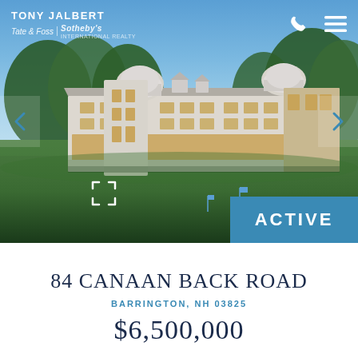[Figure (photo): Aerial/ground-level photo of a large luxury estate with white facade, multiple dormers, observatory domes on roof, surrounded by green lawn, blue sky background. Tate & Foss Sotheby's International Realty branding overlay at top left.]
TONY JALBERT | Tate & Foss | Sotheby's International Realty
84 CANAAN BACK ROAD
BARRINGTON, NH 03825
$6,500,000
ACTIVE